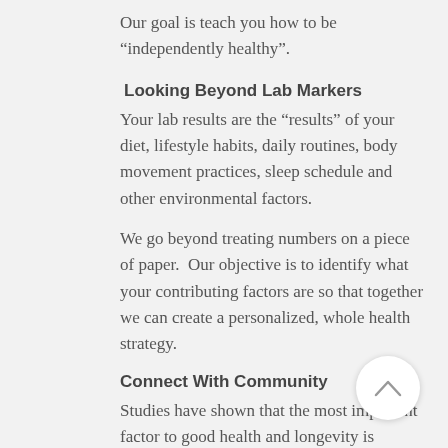Our goal is teach you how to be “independently healthy”.
Looking Beyond Lab Markers
Your lab results are the “results” of your diet, lifestyle habits, daily routines, body movement practices, sleep schedule and other environmental factors.
We go beyond treating numbers on a piece of paper.  Our objective is to identify what your contributing factors are so that together we can create a personalized, whole health strategy.
Connect With Community
Studies have shown that the most important factor to good health and longevity is connection with a community